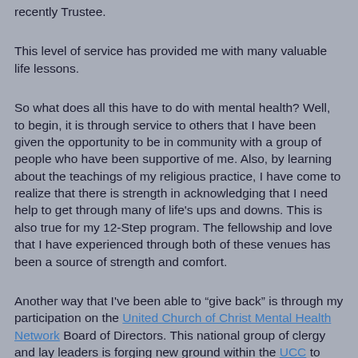recently Trustee.
This level of service has provided me with many valuable life lessons.
So what does all this have to do with mental health? Well, to begin, it is through service to others that I have been given the opportunity to be in community with a group of people who have been supportive of me. Also, by learning about the teachings of my religious practice, I have come to realize that there is strength in acknowledging that I need help to get through many of life's ups and downs. This is also true for my 12-Step program. The fellowship and love that I have experienced through both of these venues has been a source of strength and comfort.
Another way that I've been able to "give back" is through my participation on the United Church of Christ Mental Health Network Board of Directors. This national group of clergy and lay leaders is forging new ground within the UCC to create a safe space for those living with mental health